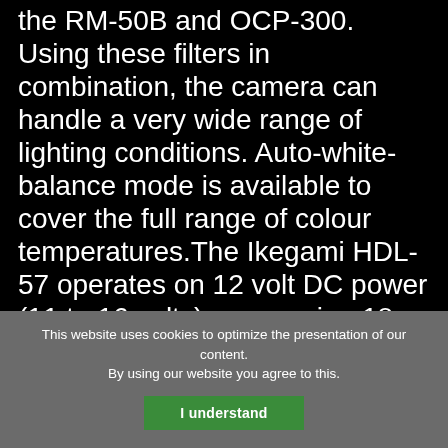remote control panels such as the RM-50B and OCP-300. Using these filters in combination, the camera can handle a very wide range of lighting conditions. Auto-white-balance mode is available to cover the full range of colour temperatures.The Ikegami HDL-57 operates on 12 volt DC power (11 to 16 volts), consuming 18 watts or less. It delivers...
This website uses cookies to optimize the presentation of our content. By using our website you agree to this. I understand